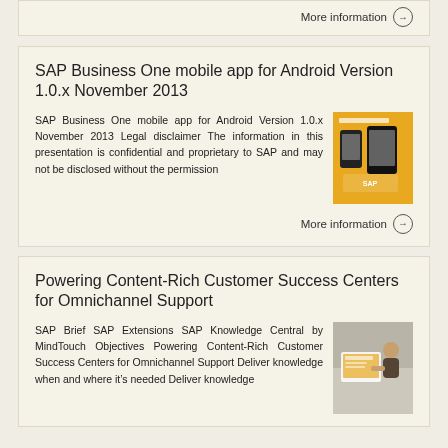More information →
SAP Business One mobile app for Android Version 1.0.x November 2013
SAP Business One mobile app for Android Version 1.0.x November 2013 Legal disclaimer The information in this presentation is confidential and proprietary to SAP and may not be disclosed without the permission
[Figure (photo): Thumbnail image of SAP Business One mobile app for Android on an orange background showing smartphone screens]
More information →
Powering Content-Rich Customer Success Centers for Omnichannel Support
SAP Brief SAP Extensions SAP Knowledge Central by MindTouch Objectives Powering Content-Rich Customer Success Centers for Omnichannel Support Deliver knowledge when and where it's needed Deliver knowledge
[Figure (photo): Thumbnail image of a person working on a tablet, related to SAP Knowledge Central content]